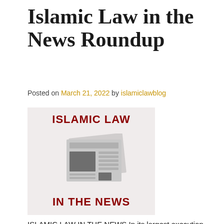Islamic Law in the News Roundup
Posted on March 21, 2022 by islamiclawblog
[Figure (illustration): Illustrated logo with text 'ISLAMIC LAW IN THE NEWS' and a stylized newspaper graphic in dark red on a light pink/beige background]
ISLAMIC LAW IN THE NEWS In its largest execution ever, Saudi Arabia put 81 people to death, convicted of various crimes, including rape and murder, despite the Crown